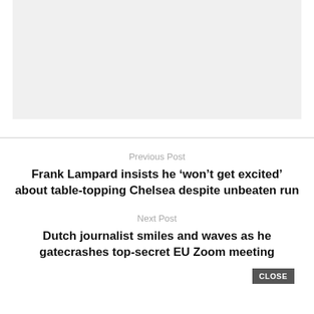[Figure (other): Gray placeholder box for an image or advertisement]
Previous Post
Frank Lampard insists he ‘won’t get excited’ about table-topping Chelsea despite unbeaten run
Next Post
Dutch journalist smiles and waves as he gatecrashes top-secret EU Zoom meeting
CLOSE